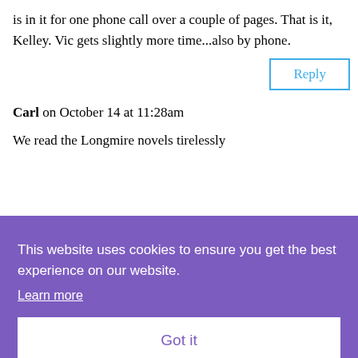is in it for one phone call over a couple of pages. That is it, Kelley. Vic gets slightly more time...also by phone.
Reply
Carl on October 14 at 11:28am
We read the Longmire novels tirelessly
[Figure (screenshot): Cookie consent banner overlay with purple background. Text reads: 'This website uses cookies to ensure you get the best experience on our website.' with a 'Learn more' underlined link and a white 'Got it' button.]
Thanks for the chance to win